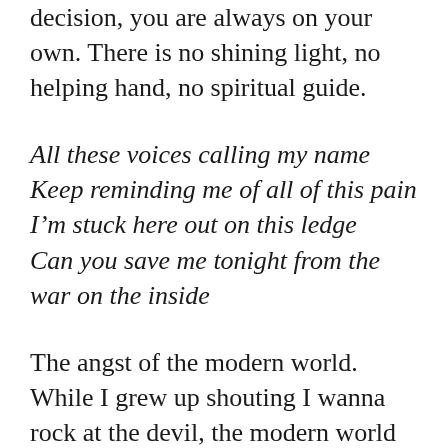decision, you are always on your own. There is no shining light, no helping hand, no spiritual guide.
All these voices calling my name
Keep reminding me of all of this pain
I'm stuck here out on this ledge
Can you save me tonight from the war on the inside
The angst of the modern world. While I grew up shouting I wanna rock at the devil, the modern world grew up with themes that the thrash bands of the 80's wrote about. And even though thrash and death metal music had themes of depression and